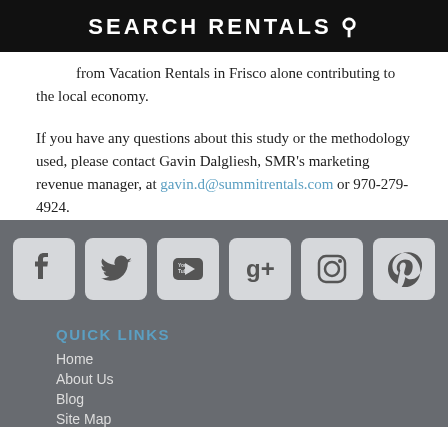SEARCH RENTALS
from Vacation Rentals in Frisco alone contributing to the local economy.
If you have any questions about this study or the methodology used, please contact Gavin Dalgliesh, SMR's marketing revenue manager, at gavin.d@summitrentals.com or 970-279-4924.
[Figure (other): Row of six social media icon buttons: Facebook, Twitter, YouTube, Google+, Instagram, Pinterest]
QUICK LINKS
Home
About Us
Blog
Site Map